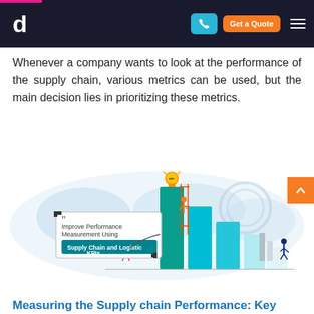d | Get a Quote
Whenever a company wants to look at the performance of the supply chain, various metrics can be used, but the main decision lies in prioritizing these metrics.
[Figure (infographic): Infographic showing 'Improve Performance Measurement Using Supply Chain and Logistic KPIs' with illustrated figures climbing stair-step bar chart, a glowing lightbulb on top, and a world map background.]
Measuring the Supply chain Performance: Key